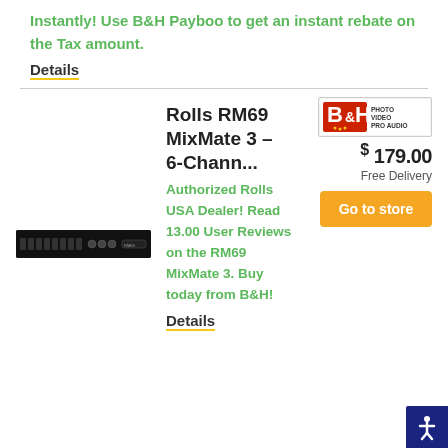Instantly! Use B&H Payboo to get an instant rebate on the Tax amount.
Details
[Figure (photo): Rolls RM69 MixMate 3 rack-mount audio mixer unit, black, front panel view]
Rolls RM69 MixMate 3 - 6-Chann...
Authorized Rolls USA Dealer! Read 13.00 User Reviews on the RM69 MixMate 3. Buy today from B&H!
[Figure (logo): B&H Photo Video Pro Audio logo]
$ 179.00
Free Delivery
Go to store
Details